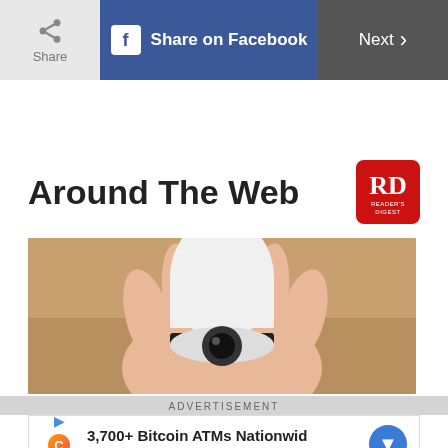Share | Share on Facebook | Next
Around The Web
[Figure (photo): A hand holding a white wireless security camera device against a wooden background]
ADVERTISEMENT
3,700+ Bitcoin ATMs Nationwid | CoinFlip Bitcoin ATM